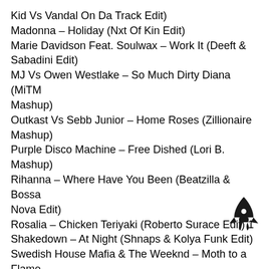Kid Vs Vandal On Da Track Edit)
Madonna – Holiday (Nxt Of Kin Edit)
Marie Davidson Feat. Soulwax – Work It (Deeft & Sabadini Edit)
MJ Vs Owen Westlake – So Much Dirty Diana (MiTM Mashup)
Outkast Vs Sebb Junior – Home Roses (Zillionaire Mashup)
Purple Disco Machine – Free Dished (Lori B. Mashup)
Rihanna – Where Have You Been (Beatzilla & Bossa Nova Edit)
Rosalia – Chicken Teriyaki (Roberto Surace Edit) 1
Shakedown – At Night (Shnaps & Kolya Funk Edit)
Swedish House Mafia & The Weeknd – Moth to a Flame (Sam Smyers Edit)
Tiesto & Ava Max – The Motto (Dima Isay Edit)
Tiesto Vs Joel Corry & Da Hool – The Business (Rivas Mashup)
Timbaland – Morning After Dark (LEVEL UP Edit)
[Figure (illustration): Rocket ship icon in black]